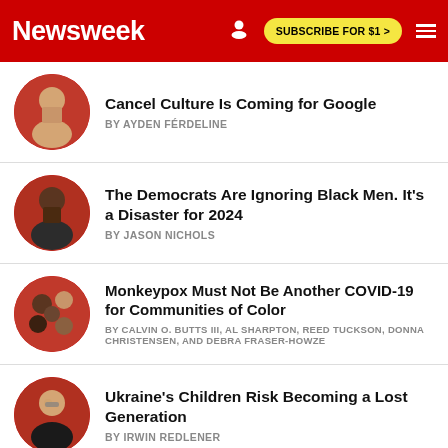Newsweek | SUBSCRIBE FOR $1 >
Cancel Culture Is Coming for Google
BY AYDEN FÉRDELINE
The Democrats Are Ignoring Black Men. It's a Disaster for 2024
BY JASON NICHOLS
Monkeypox Must Not Be Another COVID-19 for Communities of Color
BY CALVIN O. BUTTS III, AL SHARPTON, REED TUCKSON, DONNA CHRISTENSEN, AND DEBRA FRASER-HOWZE
Ukraine's Children Risk Becoming a Lost Generation
BY IRWIN REDLENER
Common Ground in Uncommon Times for Our